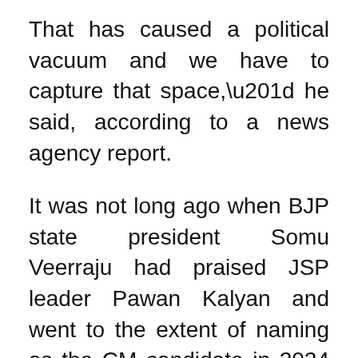That has caused a political vacuum and we have to capture that space,” he said, according to a news agency report.
It was not long ago when BJP state president Somu Veerraju had praised JSP leader Pawan Kalyan and went to the extent of naming as the CM candidate in 2024 elections. He said Prime Minister Nareendra Modi liked Pawan Kalyan and hence BJP leaders in the state must treat the JSP chief with respect. “Before the 2014 general elections, they attended a public meeting in Tirupati. Modi took Pawan Kalyan along with him in his helicopter and attended seven public meetings at different places in the